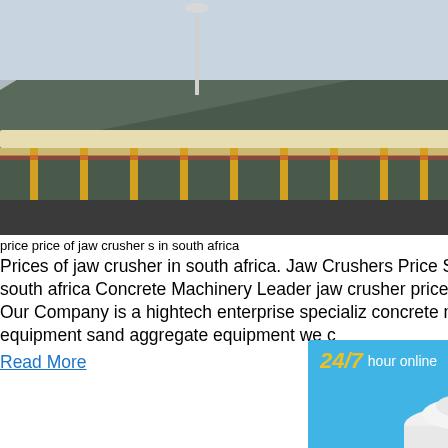[Figure (photo): Aerial/elevated view of an industrial conveyor belt or bridge structure on a hillside]
price price of jaw crusher s in south africa
Prices of jaw crusher in south africa. Jaw Crushers Price South Africa. Jaw crusher price in south africa Concrete Machinery Leader jaw crusher price in south africa October 7 2018 Our Company is a hightech enterprise specializ concrete mixers concrete batching plants s equipment sand aggregate equipment we c
Read More
[Figure (photo): Industrial crushing/mining equipment on site with red shipping container and machinery]
mm jaw crusher price in south africa 9738
2019 F 6 Wholesale High Performance J
[Figure (infographic): Advertisement panel: 24/7 hour online, cone crusher image, Click me to chat>>, Enquiry, limingjlmofen]